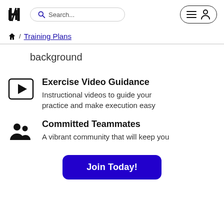H7 [logo] Search... [menu] [user]
🏠 / Training Plans
background
Exercise Video Guidance
Instructional videos to guide your practice and make execution easy
Committed Teammates
A vibrant community that will keep you
Join Today!